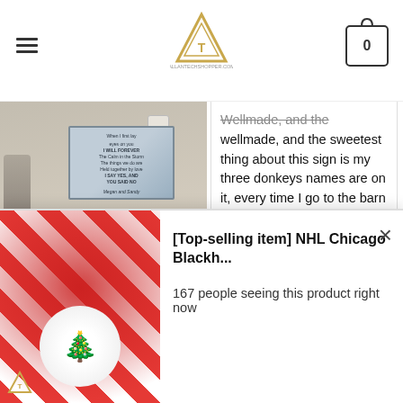[Top-selling item] NHL Chicago Blackh...
[Figure (photo): Product photo of a decorative sign hung on a wall]
Brilliant H. 07/28/2021
Great picture. My wife loves it, given as a surprise. Hanging in our hall way.Purchased from the UK as always wonder
Wellmade, and the sweetest thing about this sign is my three donkeys names are on it, every time I go to the barn and ope...More
Helpful? 0 0
[Figure (photo): Bedroom with teal/turquoise turtle-themed bedding set]
[Figure (photo): NHL Chicago Blackhawks ugly Christmas sweater product image]
[Top-selling item] NHL Chicago Blackh...
167 people seeing this product right now